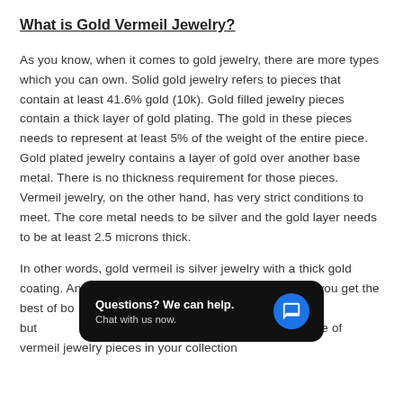What is Gold Vermeil Jewelry?
As you know, when it comes to gold jewelry, there are more types which you can own. Solid gold jewelry refers to pieces that contain at least 41.6% gold (10k). Gold filled jewelry pieces contain a thick layer of gold plating. The gold in these pieces needs to represent at least 5% of the weight of the entire piece. Gold plated jewelry contains a layer of gold over another base metal. There is no thickness requirement for those pieces. Vermeil jewelry, on the other hand, has very strict conditions to meet. The core metal needs to be silver and the gold layer needs to be at least 2.5 microns thick.
In other words, gold vermeil is silver jewelry with a thick gold coating. And because it contains two precious metals, you get the best of bo[...] sive than solid gold jewelry, but [...] you should own a couple of vermeil jewelry pieces in your collection